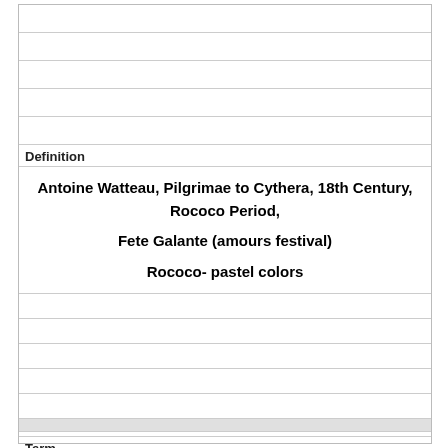Definition
Antoine Watteau, Pilgrimae to Cythera, 18th Century, Rococo Period,

Fete Galante (amours festival)

Rococo- pastel colors
Term
[Figure (other): [image]]